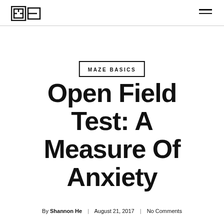Maze Engineering logo and navigation
MAZE BASICS
Open Field Test: A Measure Of Anxiety
By Shannon He | August 21, 2017 | No Comments